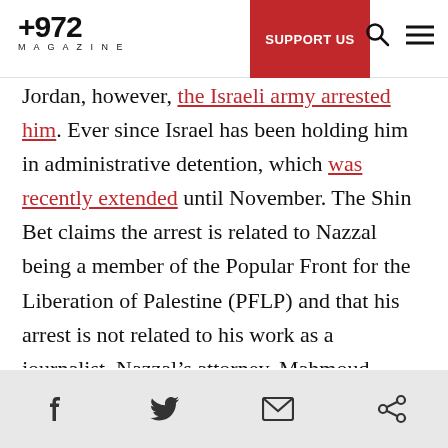+972 Magazine | SUPPORT US
Jordan, however, the Israeli army arrested him. Ever since Israel has been holding him in administrative detention, which was recently extended until November. The Shin Bet claims the arrest is related to Nazzal being a member of the Popular Front for the Liberation of Palestine (PFLP) and that his arrest is not related to his work as a journalist. Nazzal’s attorney, Mahmoud Hassan, believes the opposite is true.

“He’s a political journalist,” Atty. Hassan told journalists Oren Persico and Nimrod Halberthal on
Social share icons: Facebook, Twitter, Email, Link